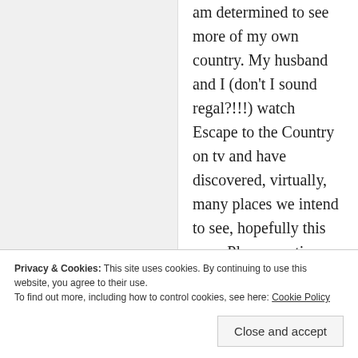am determined to see more of my own country. My husband and I (don't I sound regal?!!!) watch Escape to the Country on tv and have discovered, virtually, many places we intend to see, hopefully this year. Please continue with your ever evolving blog – always an enjoyable read. Thank you.
★ Liked by 1 person
Reply
Privacy & Cookies: This site uses cookies. By continuing to use this website, you agree to their use. To find out more, including how to control cookies, see here: Cookie Policy
Close and accept
Thank you, Sue. It is important to